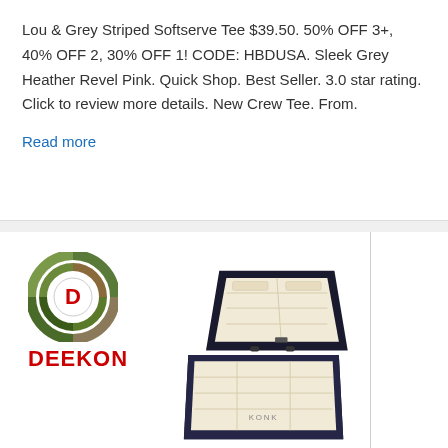Lou & Grey Striped Softserve Tee $39.50. 50% OFF 3+, 40% OFF 2, 30% OFF 1! CODE: HBDUSA. Sleek Grey Heather Revel Pink. Quick Shop. Best Seller. 3.0 star rating. Click to review more details. New Crew Tee. From.
Read more
[Figure (logo): DEEKON brand logo: circular camouflage-patterned ring with a red D in the center, and red bold text DEEKON below]
[Figure (photo): A black jewelry or watch travel case shown open, with cream/beige quilted interior, multiple compartments, displayed at an angle]